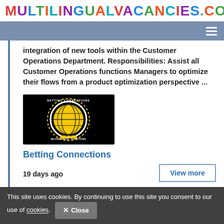MULTILINGUALVACANCIES.COM
integration of new tools within the Customer Operations Department. Responsibilities: Assist all Customer Operations functions Managers to optimize their flows from a product optimization perspective ...
[Figure (logo): Betting Connections company logo — black background with yellow globe icon and circular text]
Betting Connections
19 days ago
View more
Save job   Share
This site uses cookies. By continuing to use this site you consent to our use of cookies. Close